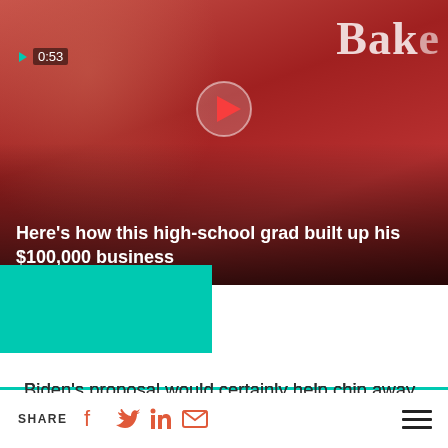[Figure (screenshot): Video thumbnail showing a person in red holding red flowers, with text overlay '0:53', title 'Here's how this high-school grad built up his $100,000 business', and partial word 'Bake' visible on right side. There is a teal/turquoise bar below the thumbnail.]
Biden's proposal would certainly help chip away at the student debt crisis. His campaign proposal would eliminate about $321 billion in debt, wiping the slate clean for roughly 12 million people, according to an estimate from the Federal Reserve Bank of New York.
Some critics – who note that canceling $10,000
SHARE [social icons: Facebook, Twitter, LinkedIn, Email] [hamburger menu]